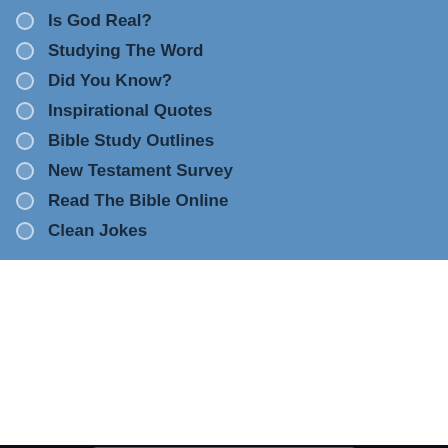Is God Real?
Studying The Word
Did You Know?
Inspirational Quotes
Bible Study Outlines
New Testament Survey
Read The Bible Online
Clean Jokes
Accept Jesus TODAY!
[Figure (logo): Facebook icon (white f on dark blue rounded square)]
[Figure (logo): Twitter bird icon (white bird on light blue rounded square)]